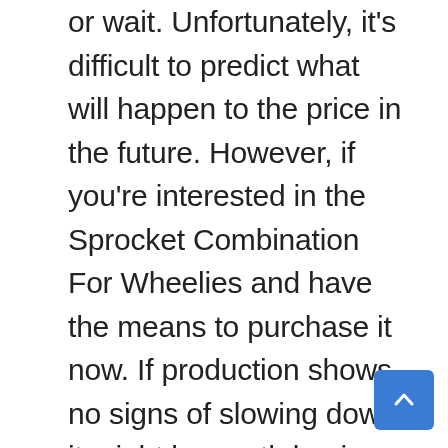or wait. Unfortunately, it's difficult to predict what will happen to the price in the future. However, if you're interested in the Sprocket Combination For Wheelies and have the means to purchase it now. If production shows no signs of slowing down, it might be worth buying now so you can enjoy your purchase sooner rather than later. However, if production is decreasing and prices are expected to rise, it might be better to wait until after the hype has died down to make your decision.